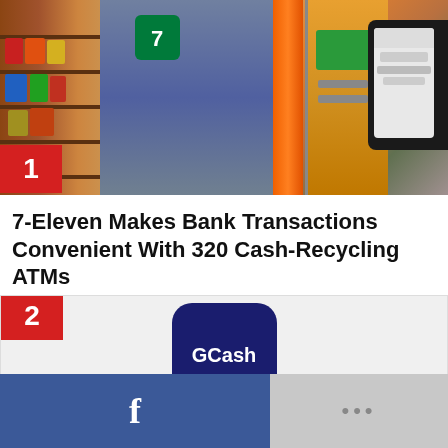[Figure (photo): Person using a cash-recycling ATM inside a 7-Eleven convenience store; shelves of products visible on the left, orange post in the background, a tablet device on the right. Red badge with number 1 in the lower-left corner of the image.]
7-Eleven Makes Bank Transactions Convenient With 320 Cash-Recycling ATMs
[Figure (logo): GCash app logo: dark navy rounded square with white bold text reading 'GCash'. Red badge with number 2 in the lower-left corner of the image.]
[Figure (other): Bottom social sharing bar with Facebook button (blue, 'f' icon) on the left and a grey more/options button with three dots on the right.]